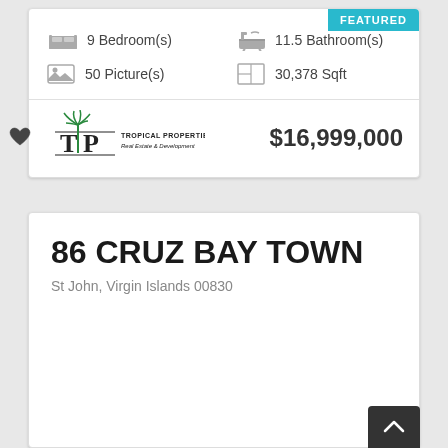FEATURED
9 Bedroom(s)
11.5 Bathroom(s)
50 Picture(s)
30,378 Sqft
[Figure (logo): Tropical Properties Real Estate & Development logo with palm tree between T and P letters]
$16,999,000
86 CRUZ BAY TOWN
St John, Virgin Islands 00830